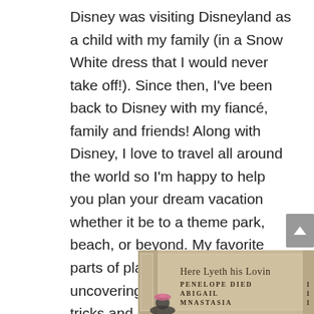Disney was visiting Disneyland as a child with my family (in a Snow White dress that I would never take off!). Since then, I've been back to Disney with my fiancé, family and friends! Along with Disney, I love to travel all around the world so I'm happy to help you plan your dream vacation whether it be to a theme park, beach, or beyond. My favorite parts of planning trips  are uncovering all the latest tips, tricks and activities to really make every vacation special and unique.
[Figure (photo): A stone gravestone or memorial plaque at a Disney theme park (Haunted Mansion) reading 'Here Lyeth his Lovin...' with names PENELOPE DIED, ABIGAIL, MNASTASIA and partially visible dates. A person wearing a pink hat is visible at the bottom.]